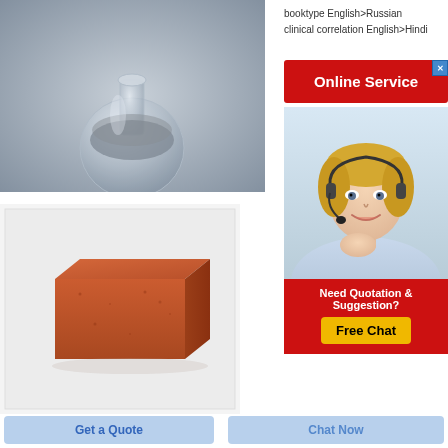[Figure (photo): Glass bottle/flask containing gray powder, on gray background]
[Figure (photo): Red/terracotta brick block on white background]
booktype English>Russian
clinical correlation English>Hindi
[Figure (infographic): Online Service button in red with close X icon]
[Figure (photo): Blonde female customer service agent with headset, smiling]
[Figure (infographic): Need Quotation & Suggestion? Free Chat button in yellow on red background]
Get a Quote
Chat Now